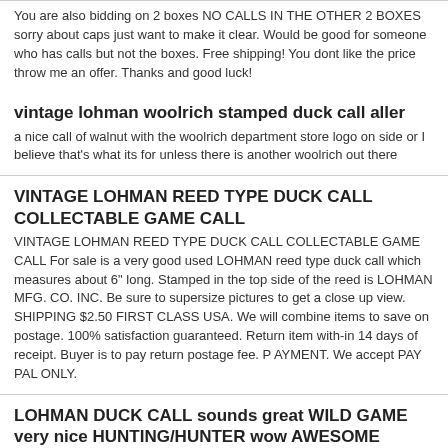You are also bidding on 2 boxes NO CALLS IN THE OTHER 2 BOXES sorry about caps just want to make it clear. Would be good for someone who has calls but not the boxes. Free shipping! You dont like the price throw me an offer. Thanks and good luck!
vintage lohman woolrich stamped duck call aller
a nice call of walnut with the woolrich department store logo on side or I believe that's what its for unless there is another woolrich out there
VINTAGE LOHMAN REED TYPE DUCK CALL COLLECTABLE GAME CALL
VINTAGE LOHMAN REED TYPE DUCK CALL COLLECTABLE GAME CALL For sale is a very good used LOHMAN reed type duck call which measures about 6" long. Stamped in the top side of the reed is LOHMAN MFG. CO. INC. Be sure to supersize pictures to get a close up view. SHIPPING $2.50 FIRST CLASS USA. We will combine items to save on postage. 100% satisfaction guaranteed. Return item with-in 14 days of receipt. Buyer is to pay return postage fee. P AYMENT. We accept PAY PAL ONLY.
LOHMAN DUCK CALL sounds great WILD GAME very nice HUNTING/HUNTER wow AWESOME
UP FOR AUCTION IS A LOHMAN GOLD SERIES DUCK CALL. IT SOUNDS GREAT AND APPEARS TO BE IN EXCELLENT CONDITION. I HAVE SEVERAL OTHER WILD GAME CALLS UP FOR AUCTION AND I DO COMBINE SHIPPING CHARGES. THANKS FOR LOOKING.
LOHMAN CLEAR DUCK CALL NICE COMDITION NO